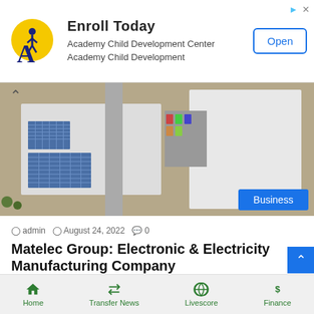[Figure (infographic): Advertisement banner: Academy Child Development Center logo (yellow circle with blue letter A and child figure), text 'Enroll Today', subtitle 'Academy Child Development Center / Academy Child Development', and an 'Open' button. Top-right has arrow and close icons.]
[Figure (photo): Aerial/drone photo of an industrial manufacturing facility with large white buildings, solar panels on rooftops, parking area, and surrounding landscape. A blue 'Business' badge overlay is in the bottom-right corner.]
admin  August 24, 2022  0
Matelec Group: Electronic & Electricity Manufacturing Company
Matelec without a doubt was once primarily based in 1974 as a distribution transformer manufacturer and for all intents and…
Home  Transfer News  Livescore  Finance